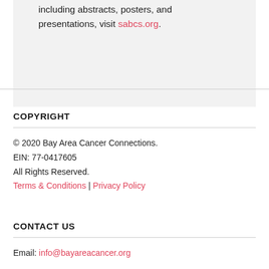including abstracts, posters, and presentations, visit sabcs.org.
COPYRIGHT
© 2020 Bay Area Cancer Connections. EIN: 77-0417605 All Rights Reserved. Terms & Conditions | Privacy Policy
CONTACT US
Email: info@bayareacancer.org